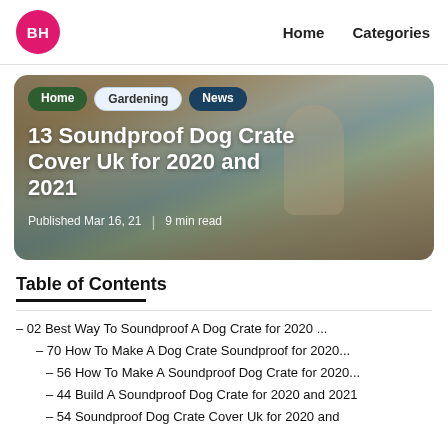BH | Home | Categories
[Figure (photo): Hero card with beach/sunset background showing a person lifting a child near the ocean. Overlaid tags: Home, Gardening, News. Title: 13 Soundproof Dog Crate Cover Uk for 2020 and 2021. Published Mar 16, 21 | 9 min read]
Table of Contents
– 02 Best Way To Soundproof A Dog Crate for 2020 ...
– 70 How To Make A Dog Crate Soundproof for 2020...
– 56 How To Make A Soundproof Dog Crate for 2020...
– 44 Build A Soundproof Dog Crate for 2020 and 2021
– 54 Soundproof Dog Crate Cover Uk for 2020 and